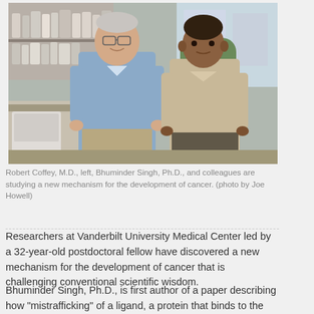[Figure (photo): Two researchers — Robert Coffey, M.D. (left, older man in blue shirt) and Bhuminder Singh, Ph.D. (right, younger man in beige shirt) — standing in a laboratory setting with equipment and bottles visible in the background.]
Robert Coffey, M.D., left, Bhuminder Singh, Ph.D., and colleagues are studying a new mechanism for the development of cancer. (photo by Joe Howell)
Researchers at Vanderbilt University Medical Center led by a 32-year-old postdoctoral fellow have discovered a new mechanism for the development of cancer that is challenging conventional scientific wisdom.
Bhuminder Singh, Ph.D., is first author of a paper describing how "mistrafficking" of a ligand, a protein that binds to the EGF receptor...